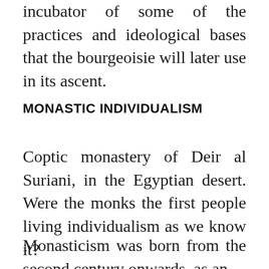incubator of some of the practices and ideological bases that the bourgeoisie will later use in its ascent.
MONASTIC INDIVIDUALISM
Coptic monastery of Deir al Suriani, in the Egyptian desert. Were the monks the first people living individualism as we know it?
Monasticism was born from the second century onwards, as an